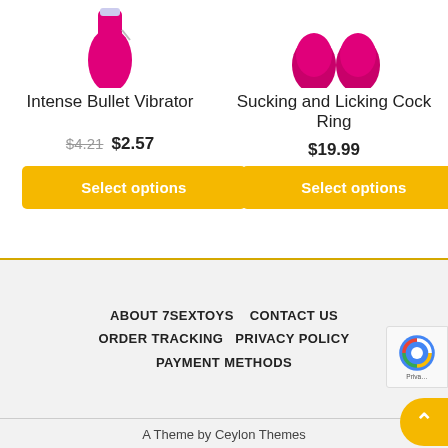[Figure (photo): Partial image of a pink bullet vibrator product on white background (top cropped)]
[Figure (photo): Partial image of pink cock ring product on white background (top cropped)]
Intense Bullet Vibrator
$4.21 $2.57
Select options
Sucking and Licking Cock Ring
$19.99
Select options
ABOUT 7SEXTOYS   CONTACT US   ORDER TRACKING   PRIVACY POLICY   PAYMENT METHODS
A Theme by Ceylon Themes